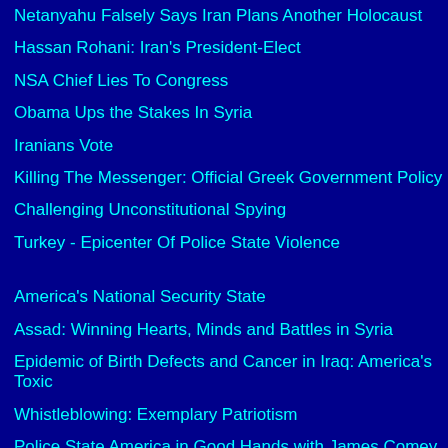Netanyahu Falsely Says Iran Plans Another Holocaust
Hassan Rohani: Iran's President-Elect
NSA Chief Lies To Congress
Obama Ups the Stakes In Syria
Iranians Vote
Killing The Messenger: Official Greek Government Policy
Challenging Unconstitutional Spying
Turkey - Epicenter Of Police State Violence
America's National Security State
Assad: Winning Hearts, Minds and Battles in Syria
Epidemic of Birth Defects and Cancer in Iraq: America's Toxic
Whistleblowing: Exemplary Patriotism
Police State America in Good Hands with James Comey